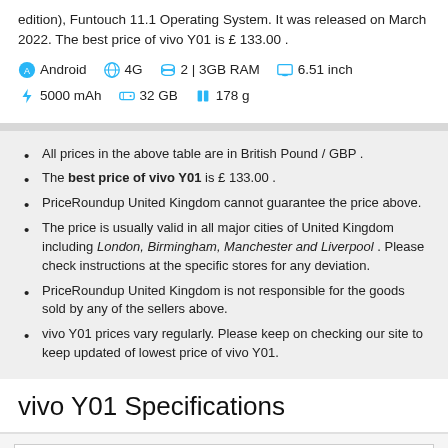edition), Funtouch 11.1 Operating System. It was released on March 2022. The best price of vivo Y01 is £ 133.00 .
Android  4G  2 | 3GB RAM  6.51 inch  5000 mAh  32 GB  178 g
All prices in the above table are in British Pound / GBP .
The best price of vivo Y01 is £ 133.00 .
PriceRoundup United Kingdom cannot guarantee the price above.
The price is usually valid in all major cities of United Kingdom including London, Birmingham, Manchester and Liverpool . Please check instructions at the specific stores for any deviation.
PriceRoundup United Kingdom is not responsible for the goods sold by any of the sellers above.
vivo Y01 prices vary regularly. Please keep on checking our site to keep updated of lowest price of vivo Y01.
vivo Y01 Specifications
| Network |
| --- |